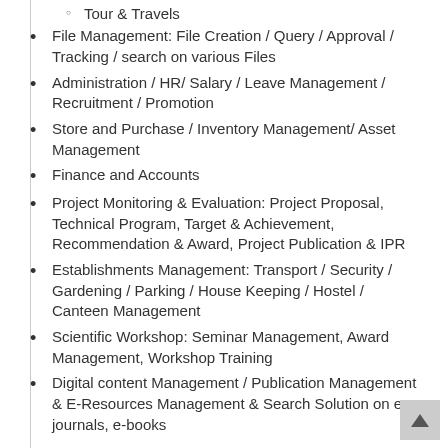Tour & Travels
File Management: File Creation / Query / Approval / Tracking / search on various Files
Administration / HR/ Salary / Leave Management / Recruitment / Promotion
Store and Purchase / Inventory Management/ Asset Management
Finance and Accounts
Project Monitoring & Evaluation: Project Proposal, Technical Program, Target & Achievement, Recommendation & Award, Project Publication & IPR
Establishments Management: Transport / Security / Gardening / Parking / House Keeping / Hostel / Canteen Management
Scientific Workshop: Seminar Management, Award Management, Workshop Training
Digital content Management / Publication Management & E-Resources Management & Search Solution on e-journals, e-books